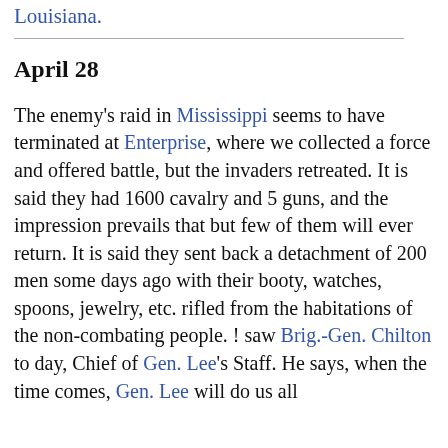Louisiana.
April 28
The enemy's raid in Mississippi seems to have terminated at Enterprise, where we collected a force and offered battle, but the invaders retreated. It is said they had 1600 cavalry and 5 guns, and the impression prevails that but few of them will ever return. It is said they sent back a detachment of 200 men some days ago with their booty, watches, spoons, jewelry, etc. rifled from the habitations of the non-combating people. ! saw Brig.-Gen. Chilton to day, Chief of Gen. Lee's Staff. He says, when the time comes, Gen. Lee will do us all